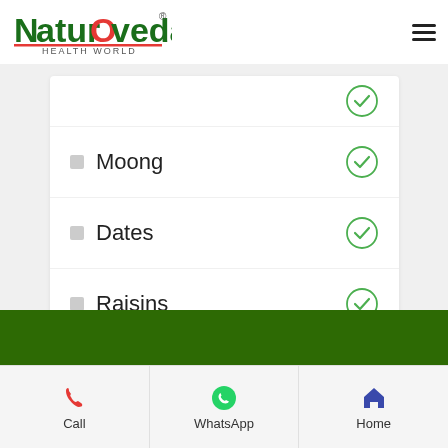[Figure (logo): Naturoveda Health World logo - green and red text with leaf icon]
Moong
Dates
Raisins
Call | WhatsApp | Home